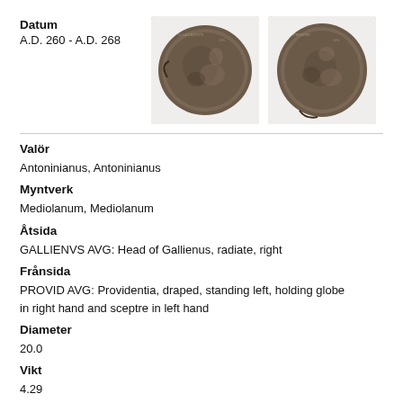Datum
A.D. 260 - A.D. 268
[Figure (photo): Two ancient Roman bronze coins (obverse and reverse) shown side by side against a white background. Both coins are worn and dark brown/black in color.]
Valör
Antoninianus, Antoninianus
Myntverk
Mediolanum, Mediolanum
Åtsida
GALLIENVS AVG: Head of Gallienus, radiate, right
Frånsida
PROVID AVG: Providentia, draped, standing left, holding globe in right hand and sceptre in left hand
Diameter
20.0
Vikt
4.29
Referens
RIC V Gallienus 508A: Subtype 2, The Cunetio Treasure 1770